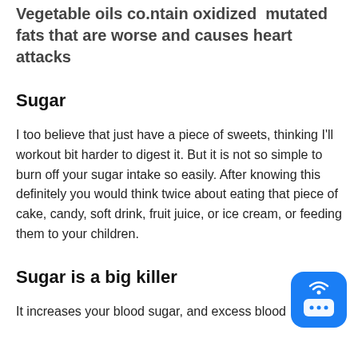Vegetable oils co.ntain oxidized  mutated fats that are worse and causes heart attacks
Sugar
I too believe that just have a piece of sweets, thinking I'll workout bit harder to digest it. But it is not so simple to burn off your sugar intake so easily. After knowing this definitely you would think twice about eating that piece of cake, candy, soft drink, fruit juice, or ice cream, or feeding them to your children.
Sugar is a big killer
It increases your blood sugar, and excess blood